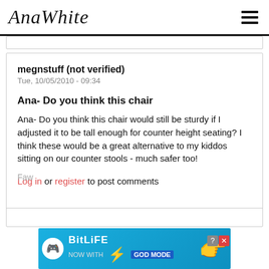AnaWhite
megnstuff (not verified)
Tue, 10/05/2010 - 09:34
Ana- Do you think this chair
Ana- Do you think this chair would still be sturdy if I adjusted it to be tall enough for counter height seating? I think these would be a great alternative to my kiddos sitting on our counter stools - much safer too!
Log in or register to post comments
[Figure (screenshot): BitLife advertisement banner: 'NOW WITH GOD MODE' with lightning bolt graphic and pointing hand]